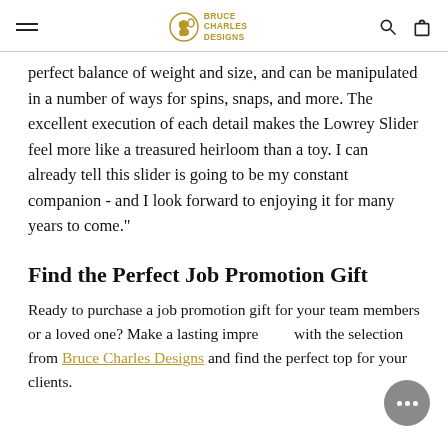Bruce Charles Designs
perfect balance of weight and size, and can be manipulated in a number of ways for spins, snaps, and more. The excellent execution of each detail makes the Lowrey Slider feel more like a treasured heirloom than a toy. I can already tell this slider is going to be my constant companion - and I look forward to enjoying it for many years to come."
Find the Perfect Job Promotion Gift
Ready to purchase a job promotion gift for your team members or a loved one? Make a lasting impression with the selection from Bruce Charles Designs and find the perfect top for your clients.